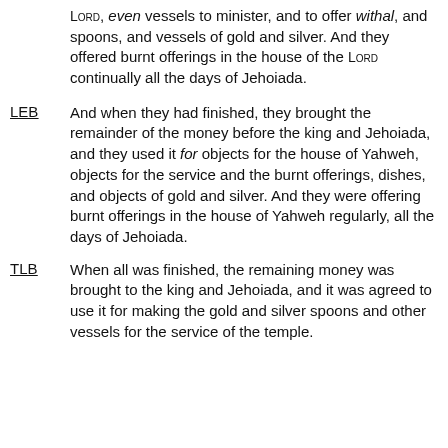LORD, even vessels to minister, and to offer withal, and spoons, and vessels of gold and silver. And they offered burnt offerings in the house of the LORD continually all the days of Jehoiada.
LEB — And when they had finished, they brought the remainder of the money before the king and Jehoiada, and they used it for objects for the house of Yahweh, objects for the service and the burnt offerings, dishes, and objects of gold and silver. And they were offering burnt offerings in the house of Yahweh regularly, all the days of Jehoiada.
TLB — When all was finished, the remaining money was brought to the king and Jehoiada, and it was agreed to use it for making the gold and silver spoons and other vessels for the service of the temple.